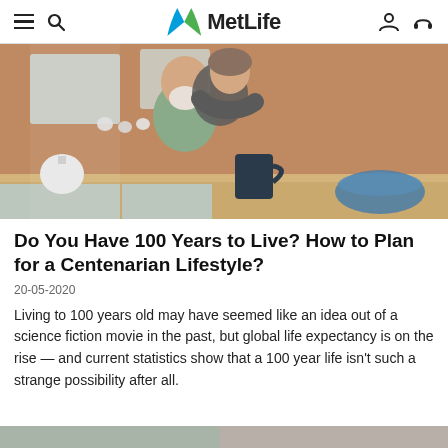MetLife
[Figure (photo): Happy elderly couple in a kitchen; the woman is hugging the man from behind, both smiling; brick wall background, mugs and a bowl on the counter.]
Do You Have 100 Years to Live? How to Plan for a Centenarian Lifestyle?
20-05-2020
Living to 100 years old may have seemed like an idea out of a science fiction movie in the past, but global life expectancy is on the rise — and current statistics show that a 100 year life isn't such a strange possibility after all.
[Figure (photo): Bottom strip of a partially visible image.]